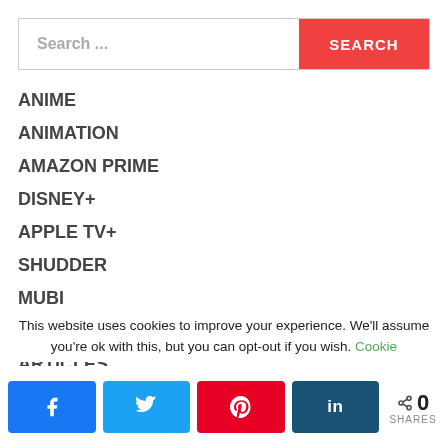Search ...
ANIME
ANIMATION
AMAZON PRIME
DISNEY+
APPLE TV+
SHUDDER
MUBI
FEATURES
ARTICLES
OFFICIAL FILM CHART
This website uses cookies to improve your experience. We'll assume you're ok with this, but you can opt-out if you wish. Cookie
0 SHARES